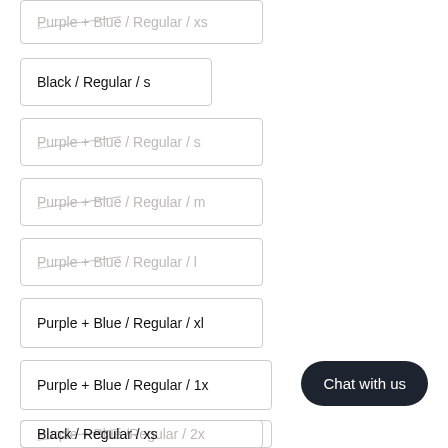Purple + Blue / Regular / xs (strikethrough, inactive)
Black / Regular / s
Purple + Blue / Regular / s (strikethrough, inactive)
Purple + Blue / Regular / m (strikethrough, inactive)
Purple + Blue / Regular / l (strikethrough, inactive)
Purple + Blue / Regular / xl
Purple + Blue / Regular / 1x
Purple + Blue / Regular / 2x (strikethrough, inactive)
Black / Regular / xs
Black / Regular / m (strikethrough, inactive)
Chat with us